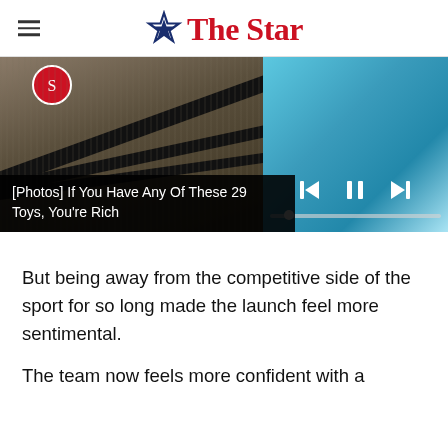The Star
[Figure (photo): Slideshow image showing dark straps/toys on left side and blue object on right side, with video player controls (previous, pause, next) and a progress bar overlaid on the right portion]
[Photos] If You Have Any Of These 29 Toys, You're Rich
But being away from the competitive side of the sport for so long made the launch feel more sentimental.
The team now feels more confident with a